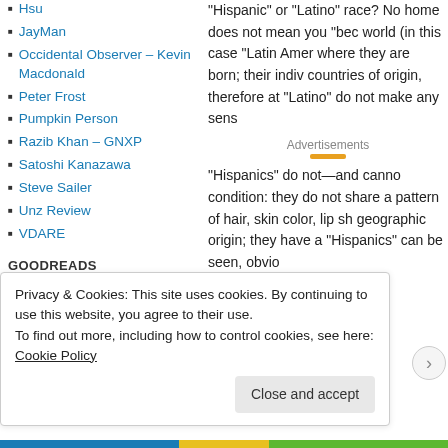Hsu
JayMan
Occidental Observer – Kevin Macdonald
Peter Frost
Pumpkin Person
Razib Khan – GNXP
Satoshi Kanazawa
Steve Sailer
Unz Review
VDARE
GOODREADS
Race, Evolution, and Behavior: A Life History
"Hispanic" or "Latino" race? No home does not mean you "bec world (in this case "Latin Amer where they are born; their indiv countries of origin, therefore at "Latino" do not make any sens
Advertisements
"Hispanics" do not—and canno condition: they do not share a pattern of hair, skin color, lip sh geographic origin; they have a "Hispanics" can be seen, obvio
Privacy & Cookies: This site uses cookies. By continuing to use this website, you agree to their use.
To find out more, including how to control cookies, see here: Cookie Policy
Close and accept